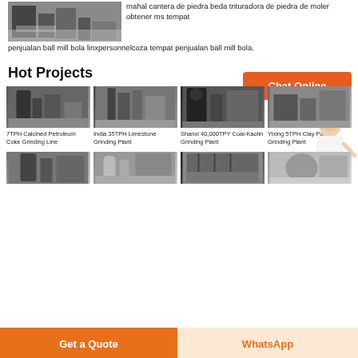[Figure (photo): Industrial quarry or mining site with machinery and snow/white material on ground]
mahal cantera de piedra beda trituradora de piedra de moler obtener ms tempat penjualan ball mill bola linxpersonnelcoza tempat penjualan ball mill bola.
[Figure (other): Chat Online button with orange background]
[Figure (photo): Avatar of a woman in business attire with Free chat button]
Hot Projects
[Figure (photo): 7TPH Calcined Petroleum Coke Grinding Line]
7TPH Calcined Petroleum Coke Grinding Line
[Figure (photo): India 35TPH Limestone Grinding Plant]
India 35TPH Limestone Grinding Plant
[Figure (photo): Shanxi 40,000TPY Coal-Kaolin Grinding Plant]
Shanxi 40,000TPY Coal-Kaolin Grinding Plant
[Figure (photo): Yixing 5TPH Clay Pottery Grinding Plant]
Yixing 5TPH Clay Pottery Grinding Plant
[Figure (photo): Industrial grinding facility bottom row 1]
[Figure (photo): Industrial grinding facility bottom row 2]
[Figure (photo): Industrial grinding facility bottom row 3]
[Figure (photo): Industrial grinding facility bottom row 4]
Get a Quote
WhatsApp